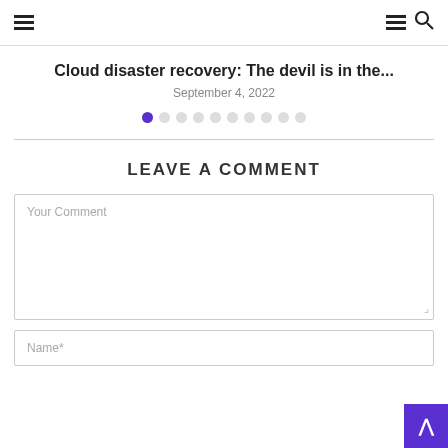☰  ☰ 🔍
Cloud disaster recovery: The devil is in the...
September 4, 2022
[Figure (other): Pagination dots: 10 dots, first one filled/active in purple, rest are empty circles]
LEAVE A COMMENT
Your Comment
Name*